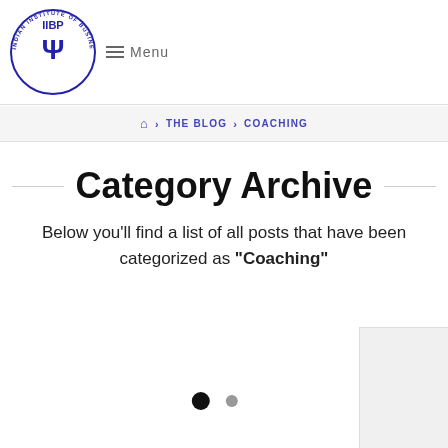IIBP - Indian Institute of Business Psychology | Menu
🏠 › THE BLOG › COACHING
Category Archive
Below you'll find a list of all posts that have been categorized as "Coaching"